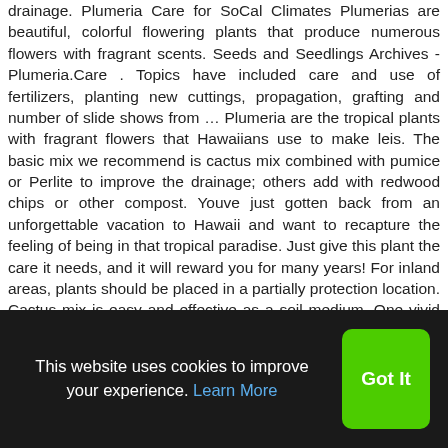drainage. Plumeria Care for SoCal Climates Plumerias are beautiful, colorful flowering plants that produce numerous flowers with fragrant scents. Seeds and Seedlings Archives - Plumeria.Care . Topics have included care and use of fertilizers, planting new cuttings, propagation, grafting and number of slide shows from … Plumeria are the tropical plants with fragrant flowers that Hawaiians use to make leis. The basic mix we recommend is cactus mix combined with pumice or Perlite to improve the drainage; others add with redwood chips or other compost. Youve just gotten back from an unforgettable vacation to Hawaii and want to recapture the feeling of being in that tropical paradise. Just give this plant the care it needs, and it will reward you for many years! For inland areas, plants should be placed in a partially protection location. Cactus mix is easy and effective as a soil medium. One vivid memory you have is of the intoxicating smell and beauty of the lei that was lowered onto your neck upon arrival
This website uses cookies to improve your experience. Learn More